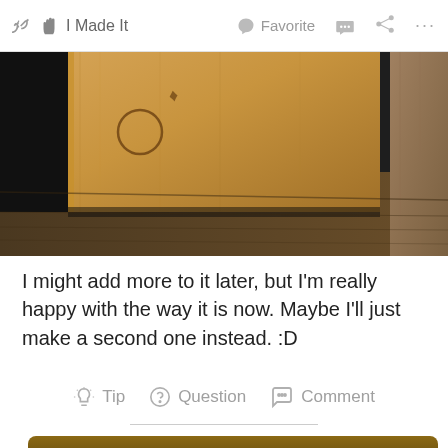I Made It  Favorite  Comment  Share  ...
[Figure (photo): Close-up of a wooden box/block with laser engraving on a wooden table surface, partially showing a second wooden item on the right.]
I might add more to it later, but I'm really happy with the way it is now. Maybe I'll just make a second one instead. :D
Tip  Question  Comment
[Figure (photo): Partial view of a woodworking project badge or sign with the text WOODWORKING in stylized letters on a light wood background with decorative notched edges.]